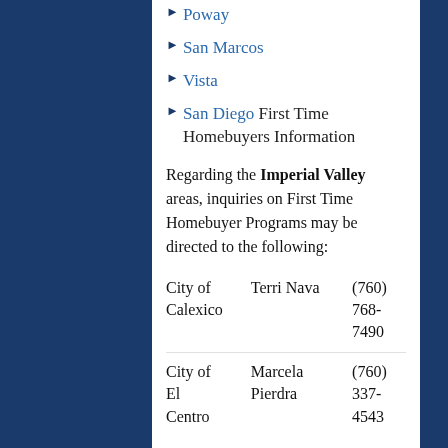Poway
San Marcos
Vista
San Diego First Time Homebuyers Information
Regarding the Imperial Valley areas, inquiries on First Time Homebuyer Programs may be directed to the following:
|  |  |  |
| --- | --- | --- |
| City of Calexico | Terri Nava | (760) 768-7490 |
| City of El Centro | Marcela Pierdra | (760) 337-4543 |